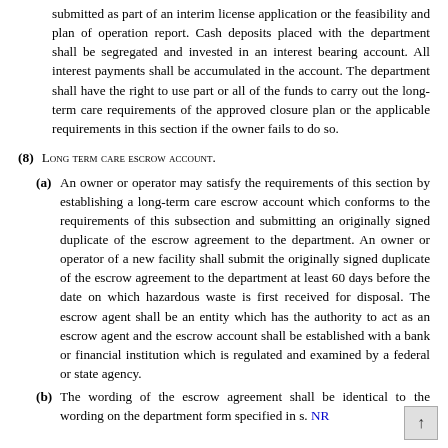submitted as part of an interim license application or the feasibility and plan of operation report. Cash deposits placed with the department shall be segregated and invested in an interest bearing account. All interest payments shall be accumulated in the account. The department shall have the right to use part or all of the funds to carry out the long-term care requirements of the approved closure plan or the applicable requirements in this section if the owner fails to do so.
(8) Long term care escrow account.
(a) An owner or operator may satisfy the requirements of this section by establishing a long-term care escrow account which conforms to the requirements of this subsection and submitting an originally signed duplicate of the escrow agreement to the department. An owner or operator of a new facility shall submit the originally signed duplicate of the escrow agreement to the department at least 60 days before the date on which hazardous waste is first received for disposal. The escrow agent shall be an entity which has the authority to act as an escrow agent and the escrow account shall be established with a bank or financial institution which is regulated and examined by a federal or state agency.
(b) The wording of the escrow agreement shall be identical to the wording on the department form specified in s. NR 664.0151(6)(a) and the escrow agreement shall be...